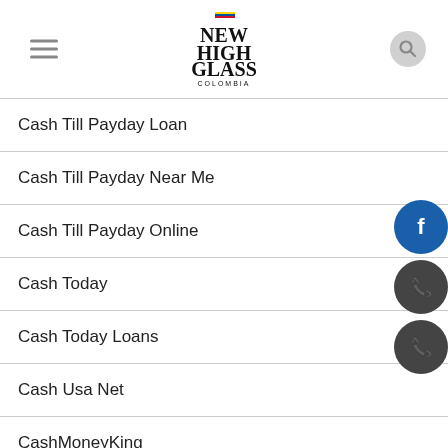NEW HIGH GLASS COLOMBIA
Cash Till Payday Loan
Cash Till Payday Near Me
Cash Till Payday Online
Cash Today
Cash Today Loans
Cash Usa Net
CashMoneyKing